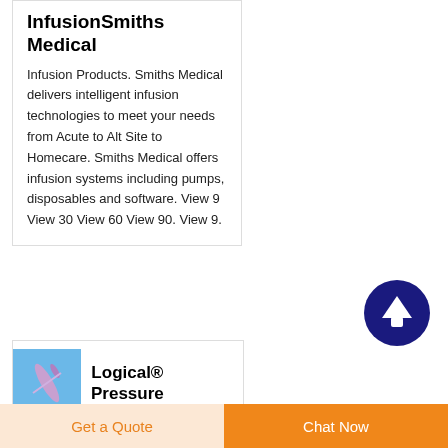InfusionSmiths Medical
Infusion Products. Smiths Medical delivers intelligent infusion technologies to meet your needs from Acute to Alt Site to Homecare. Smiths Medical offers infusion systems including pumps, disposables and software. View 9 View 30 View 60 View 90. View 9.
[Figure (other): Dark blue circular button with upward-pointing white arrow (scroll-to-top button)]
[Figure (photo): Small product photo: medical needle or cannula on light blue background]
Logical® Pressure Monitoring System
Get a Quote
Chat Now